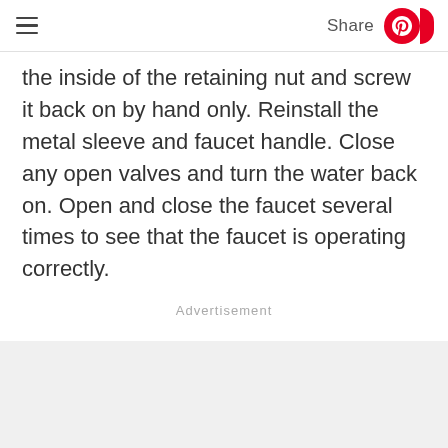Share
the inside of the retaining nut and screw it back on by hand only. Reinstall the metal sleeve and faucet handle. Close any open valves and turn the water back on. Open and close the faucet several times to see that the faucet is operating correctly.
Advertisement